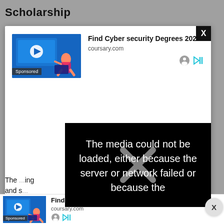Scholarship
[Figure (screenshot): Advertisement modal overlay showing 'Find Cyber security Degrees 2022' from coursary.com with a sponsored video thumbnail image and a black X close button. Below the ad content is a black error overlay reading 'The media could not be loaded, either because the server or network failed or because the']
The ...ing and s...
[Figure (screenshot): Bottom advertisement bar showing 'Find Cyber security Degrees 2022' from coursary.com with sponsored label]